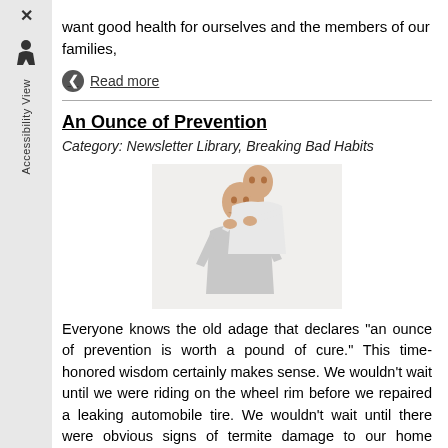want good health for ourselves and the members of our families,
Read more
An Ounce of Prevention
Category: Newsletter Library, Breaking Bad Habits
[Figure (photo): A healthcare professional (chiropractor/therapist) standing behind a seated male patient, adjusting or examining the patient's neck/head area. Both individuals on a light background.]
Everyone knows the old adage that declares "an ounce of prevention is worth a pound of cure." This time-honored wisdom certainly makes sense. We wouldn't wait until we were riding on the wheel rim before we repaired a leaking automobile tire. We wouldn't wait until there were obvious signs of termite damage to our home before calling in the pest control experts. But, in contrast, many of us